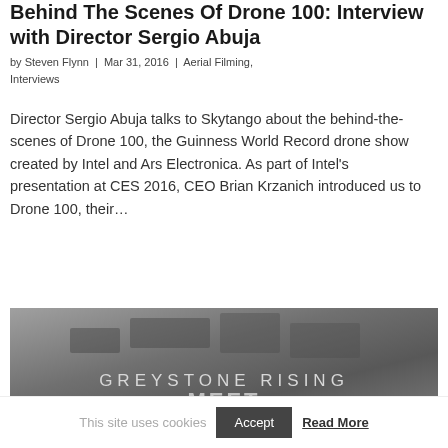Behind The Scenes Of Drone 100: Interview with Director Sergio Abuja
by Steven Flynn | Mar 31, 2016 | Aerial Filming, Interviews
Director Sergio Abuja talks to Skytango about the behind-the-scenes of Drone 100, the Guinness World Record drone show created by Intel and Ars Electronica. As part of Intel's presentation at CES 2016, CEO Brian Krzanich introduced us to Drone 100, their…
[Figure (photo): Aerial photograph with GREYSTONE RISING text overlay]
This site uses cookies  Accept  Read More